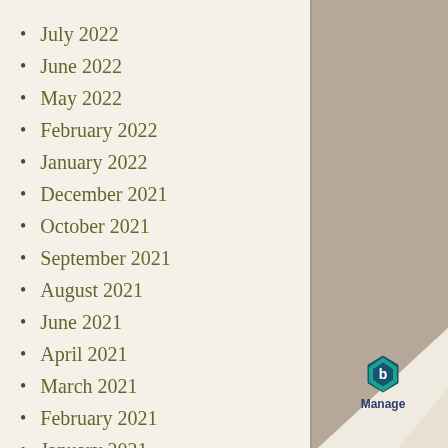July 2022
June 2022
May 2022
February 2022
January 2022
December 2021
October 2021
September 2021
August 2021
June 2021
April 2021
March 2021
February 2021
January 2021
December 2020
[Figure (logo): Manage logo with hexagon icon in blue and teal]